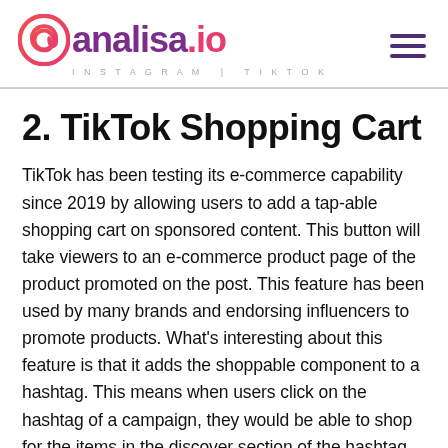analisa.io INSTAGRAM | TIKTOK
2. TikTok Shopping Cart
TikTok has been testing its e-commerce capability since 2019 by allowing users to add a tap-able shopping cart on sponsored content. This button will take viewers to an e-commerce product page of the product promoted on the post. This feature has been used by many brands and endorsing influencers to promote products. What's interesting about this feature is that it adds the shoppable component to a hashtag. This means when users click on the hashtag of a campaign, they would be able to shop for the items in the discover section of the hashtag.